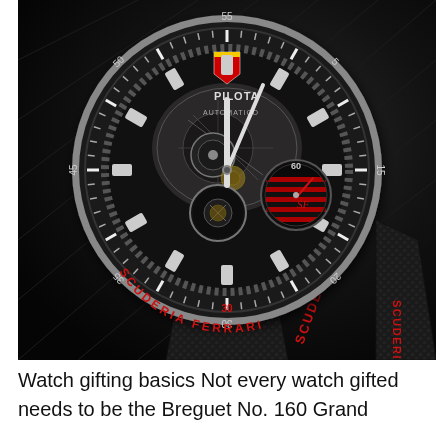[Figure (photo): Close-up photograph of a Scuderia Ferrari Pilota Automatico skeletal chronograph watch with black bezel, visible movement through open dial, red Ferrari script on bezel, and black rubber strap with red SCUDERIA text]
Watch gifting basics Not every watch gifted needs to be the Breguet No. 160 Grand